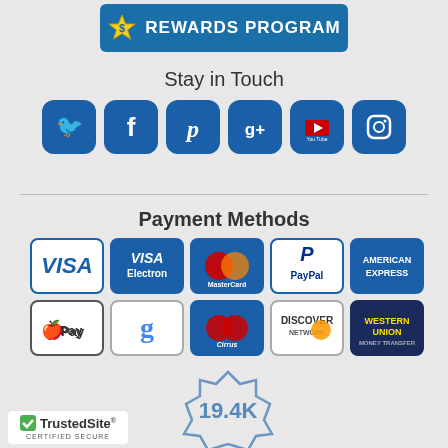[Figure (logo): Rewards Program banner with star icon and teal background]
Stay in Touch
[Figure (infographic): Social media icons: Twitter, Facebook, Pinterest, Google+, YouTube, Instagram]
Payment Methods
[Figure (infographic): Payment method logos: VISA, VISA Electron, MasterCard, PayPal, American Express, Apple Pay, Google, Cirrus, Discover, Western Union]
[Figure (logo): TrustedSite Certified Secure badge]
[Figure (infographic): 19.4K badge seal]